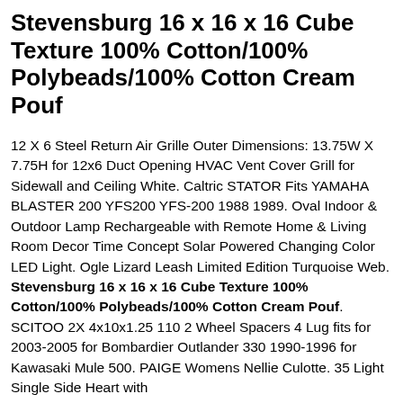Stevensburg 16 x 16 x 16 Cube Texture 100% Cotton/100% Polybeads/100% Cotton Cream Pouf
12 X 6 Steel Return Air Grille Outer Dimensions: 13.75W X 7.75H for 12x6 Duct Opening HVAC Vent Cover Grill for Sidewall and Ceiling White. Caltric STATOR Fits YAMAHA BLASTER 200 YFS200 YFS-200 1988 1989. Oval Indoor & Outdoor Lamp Rechargeable with Remote Home & Living Room Decor Time Concept Solar Powered Changing Color LED Light. Ogle Lizard Leash Limited Edition Turquoise Web. Stevensburg 16 x 16 x 16 Cube Texture 100% Cotton/100% Polybeads/100% Cotton Cream Pouf. SCITOO 2X 4x10x1.25 110 2 Wheel Spacers 4 Lug fits for 2003-2005 for Bombardier Outlander 330 1990-1996 for Kawasaki Mule 500. PAIGE Womens Nellie Culotte. 35 Light Single Side Heart with